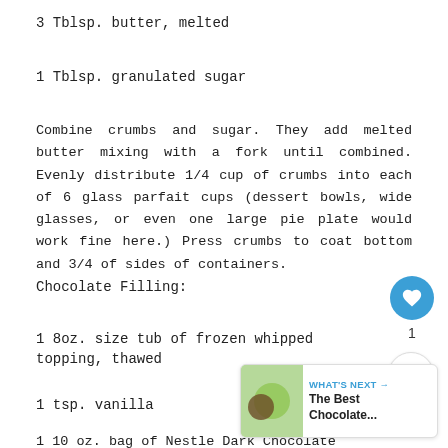3 Tblsp. butter, melted
1 Tblsp. granulated sugar
Combine crumbs and sugar. They add melted butter mixing with a fork until combined. Evenly distribute 1/4 cup of crumbs into each of 6 glass parfait cups (dessert bowls, wide glasses, or even one large pie plate would work fine here.) Press crumbs to coat bottom and 3/4 of sides of containers.
Chocolate Filling:
1 8oz. size tub of frozen whipped topping, thawed
1 tsp. vanilla
1 10 oz. bag of Nestle Dark Chocolate Morsels